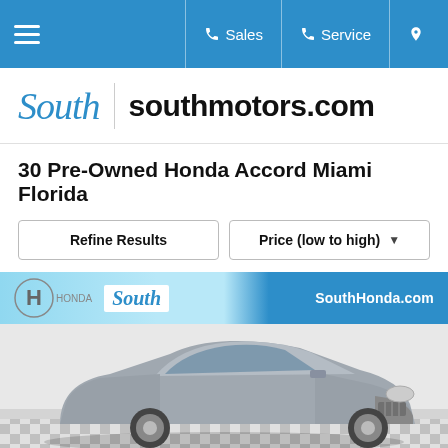≡  📞 Sales  📞 Service  📍
[Figure (logo): South Motors logo with italic 'South' in blue script and 'southmotors.com' in bold black text]
30 Pre-Owned Honda Accord Miami Florida
Refine Results | Price (low to high) ▼
[Figure (photo): Silver Honda Accord sedan photographed in a dealership showroom with checkered floor. Banner at top shows Honda logo, South Motors script logo, and SouthHonda.com URL on blue background.]